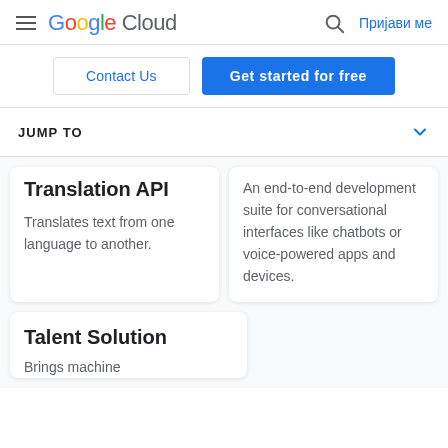Google Cloud — Пријави ме
Contact Us
Get started for free
JUMP TO
Translation API
Translates text from one language to another.
An end-to-end development suite for conversational interfaces like chatbots or voice-powered apps and devices.
Talent Solution
Brings machine